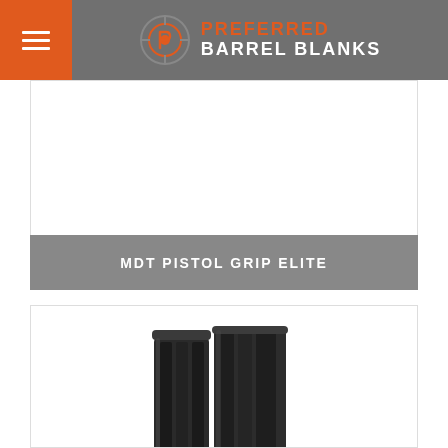Preferred Barrel Blanks
MDT PISTOL GRIP ELITE
[Figure (photo): Product photo of a black MDT pistol grip elite magazine/component, shown from a slight angle revealing the front and side profile. The item is dark/matte black with a rectangular shape and appears to be a rifle magazine.]